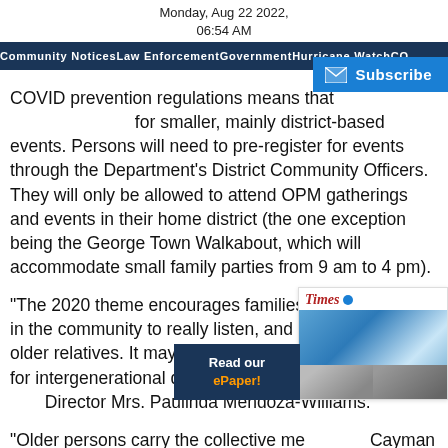Monday, Aug 22 2022,
06:54 AM
Community Notices   Law Enforcement   Government   Hurricane Watch   CO...
COVID prevention regulations means that [content cut off] for smaller, mainly district-based events. Persons will need to pre-register for events through the Department's District Community Officers. They will only be allowed to attend OPM gatherings and events in their home district (the one exception being the George Town Walkabout, which will accommodate small family parties from 9 am to 4 pm).
“The 2020 theme encourages families and individuals in the community to really listen, and learn from their older relatives. It may also provide a great opportunity for intergenerational discussion and debate,” said DC... Director Mrs. Paulinda Mendoza-Williams.
“Older persons carry the collective me... Cayman Islands. Our spoken ‘people’s h... important as what is written in books. Culture and heritage can also be transmitted from each generation in this way...